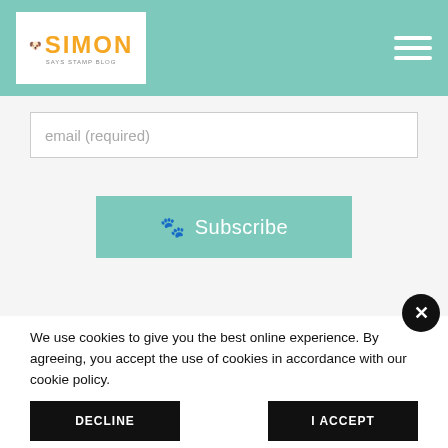[Figure (logo): Simon Says Stamp Blog logo - white box with orange SIMON text and dog illustration]
email (required)
[Figure (other): Subscribe button with paw print icon on teal/mint background]
We use cookies to give you the best online experience. By agreeing, you accept the use of cookies in accordance with our cookie policy.
DECLINE
I ACCEPT
Privacy Policy   Cookie Policy
quality items in our warehouse so that we can offer you